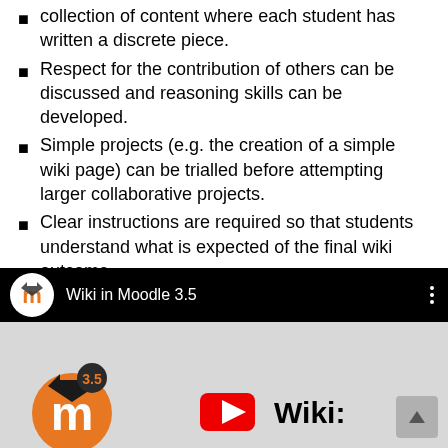collection of content where each student has written a discrete piece.
Respect for the contribution of others can be discussed and reasoning skills can be developed.
Simple projects (e.g. the creation of a simple wiki page) can be trialled before attempting larger collaborative projects.
Clear instructions are required so that students understand what is expected of the final wiki outcome.
[Figure (screenshot): YouTube-style video thumbnail showing 'Wiki in Moodle 3.5' with Moodle logo, version 3.5 badge, a YouTube play button, and 'Wiki:' text on a dark/grey background.]